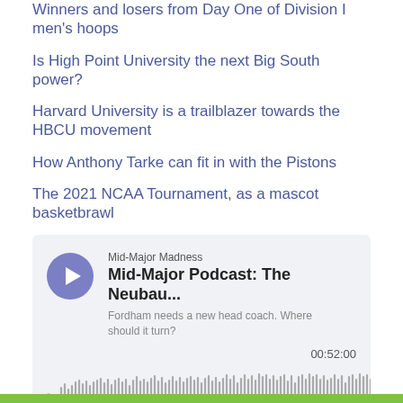Winners and losers from Day One of Division I men's hoops
Is High Point University the next Big South power?
Harvard University is a trailblazer towards the HBCU movement
How Anthony Tarke can fit in with the Pistons
The 2021 NCAA Tournament, as a mascot basketbrawl
[Figure (screenshot): Podcast player card for Mid-Major Madness podcast episode 'Mid-Major Podcast: The Neubau...' with play button, waveform, duration 00:52:00, and Megaphone branding. Description: Fordham needs a new head coach. Where should it turn?]